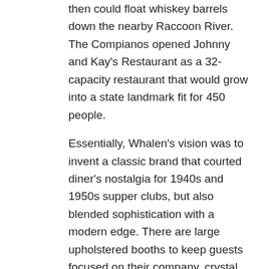then could float whiskey barrels down the nearby Raccoon River. The Compianos opened Johnny and Kay's Restaurant as a 32-capacity restaurant that would grow into a state landmark fit for 450 people.
Essentially, Whalen's vision was to invent a classic brand that courted diner's nostalgia for 1940s and 1950s supper clubs, but also blended sophistication with a modern edge. There are large upholstered booths to keep guests focused on their company, crystal chandeliers, and Frank Sinatra playing in the background.
Johnny's also offers curtained seating for guests looking for a private experience. And there's a trademarked Blue Bar that presents a lively lounge atmosphere.